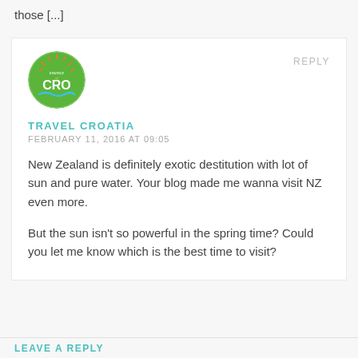those [...]
[Figure (logo): Circular green logo with 'essence of CRO' text, featuring stylized sunburst and blue wave at bottom]
REPLY
TRAVEL CROATIA
FEBRUARY 11, 2016 AT 09:05
New Zealand is definitely exotic destitution with lot of sun and pure water. Your blog made me wanna visit NZ even more.
But the sun isn't so powerful in the spring time? Could you let me know which is the best time to visit?
LEAVE A REPLY